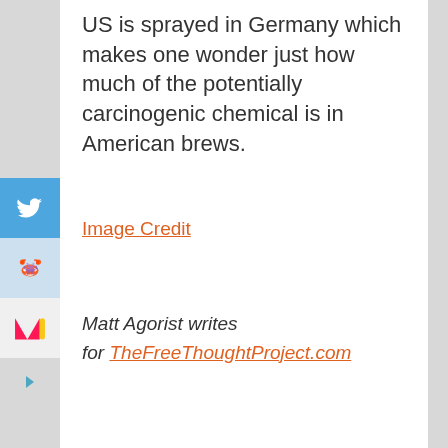US is sprayed in Germany which makes one wonder just how much of the potentially carcinogenic chemical is in American brews.
Image Credit
Matt Agorist writes for TheFreeThoughtProject.com